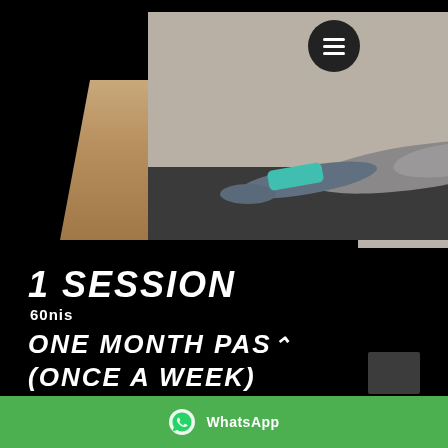[Figure (photo): Person doing a plank exercise on a dark floor, wearing gray and teal workout clothes. Side strips show partial fitness images on left and right edges.]
1 SESSION
60nis
ONE MONTH PASS
(ONCE A WEEK)
WhatsApp